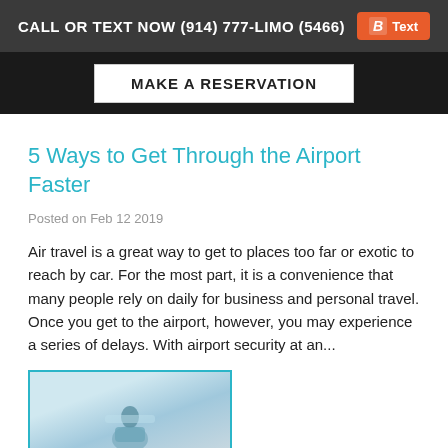CALL OR TEXT NOW (914) 777-LIMO (5466)  Text
MAKE A RESERVATION
5 Ways to Get Through the Airport Faster
Posted on Feb 12 2019
Air travel is a great way to get to places too far or exotic to reach by car. For the most part, it is a convenience that many people rely on daily for business and personal travel. Once you get to the airport, however, you may experience a series of delays. With airport security at an...
[Figure (photo): Photo of a woman at an airport or on a plane, viewed from behind, with airplane interior visible.]